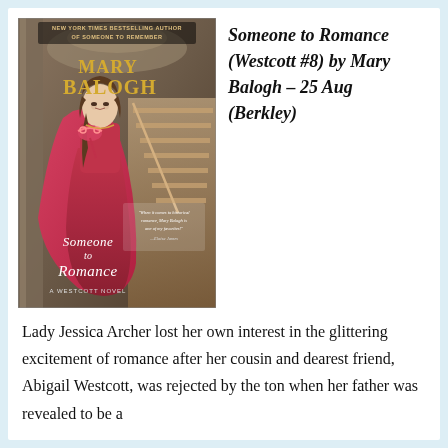[Figure (illustration): Book cover of 'Someone to Romance' by Mary Balogh, showing a woman in a pink/red dress and cape holding a masquerade mask, standing on grand staircase. Text: 'NEW YORK TIMES BESTSELLING AUTHOR OF SOMEONE TO REMEMBER', 'MARY BALOGH', 'SOMEONE TO ROMANCE', 'A WESTCOTT NOVEL']
Someone to Romance (Westcott #8) by Mary Balogh – 25 Aug (Berkley)
Lady Jessica Archer lost her own interest in the glittering excitement of romance after her cousin and dearest friend, Abigail Westcott, was rejected by the ton when her father was revealed to be a